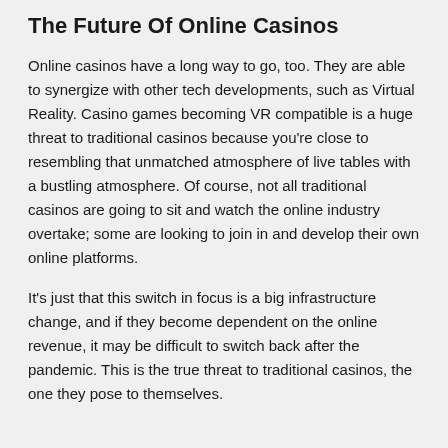The Future Of Online Casinos
Online casinos have a long way to go, too. They are able to synergize with other tech developments, such as Virtual Reality. Casino games becoming VR compatible is a huge threat to traditional casinos because you're close to resembling that unmatched atmosphere of live tables with a bustling atmosphere. Of course, not all traditional casinos are going to sit and watch the online industry overtake; some are looking to join in and develop their own online platforms.
It's just that this switch in focus is a big infrastructure change, and if they become dependent on the online revenue, it may be difficult to switch back after the pandemic. This is the true threat to traditional casinos, the one they pose to themselves.